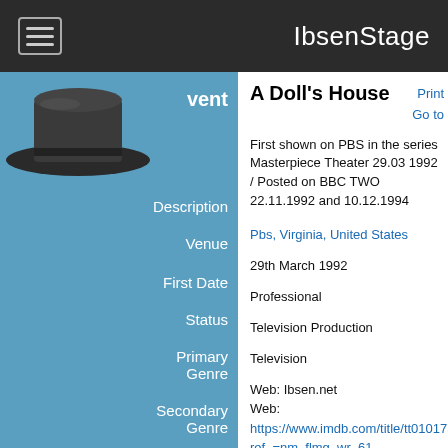IbsenStage
Event
A Doll's House
Print
Go to
Description
First shown on PBS in the series Masterpiece Theater 29.03 1992 / Posted on BBC TWO 22.11.1992 and 10.12.1994
Venue
Pbs, Virginia, United States
First Date
29th March 1992
Status
Professional
Primary Genre
Television Production
Secondary Genre
Television
Source
Web: Ibsen.net
Web: https://www.imdb.com/title/tt0101750/?ref_=nm_flmg_wr_61
Resources
[Figure (screenshot): YouTube video thumbnail for 'Casa de Bonecas...' with play button]